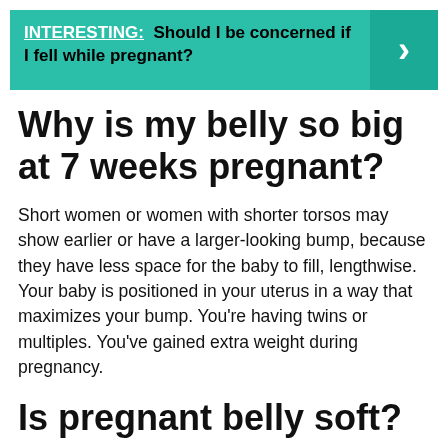[Figure (other): Teal banner with text: INTERESTING: Should I be concerned if I fell while pregnant? with a right-arrow chevron on the right side]
Why is my belly so big at 7 weeks pregnant?
Short women or women with shorter torsos may show earlier or have a larger-looking bump, because they have less space for the baby to fill, lengthwise. Your baby is positioned in your uterus in a way that maximizes your bump. You're having twins or multiples. You've gained extra weight during pregnancy.
Is pregnant belly soft?